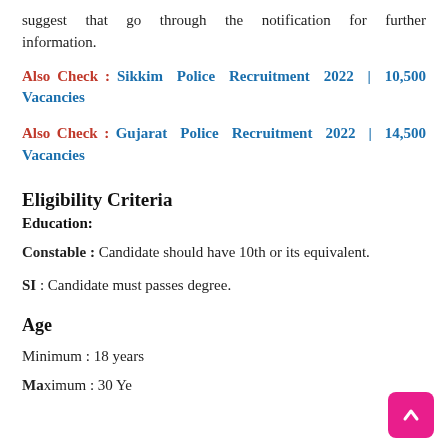suggest that go through the notification for further information.
Also Check : Sikkim Police Recruitment 2022 | 10,500 Vacancies
Also Check : Gujarat Police Recruitment 2022 | 14,500 Vacancies
Eligibility Criteria
Education:
Constable : Candidate should have 10th or its equivalent.
SI : Candidate must passes degree.
Age
Minimum : 18 years
Maximum : 30 Ye...